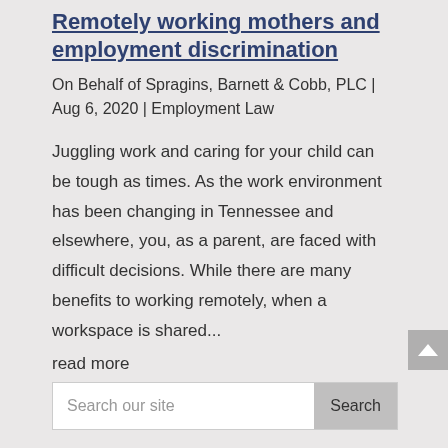Remotely working mothers and employment discrimination
On Behalf of Spragins, Barnett & Cobb, PLC | Aug 6, 2020 | Employment Law
Juggling work and caring for your child can be tough as times. As the work environment has been changing in Tennessee and elsewhere, you, as a parent, are faced with difficult decisions. While there are many benefits to working remotely, when a workspace is shared...
read more